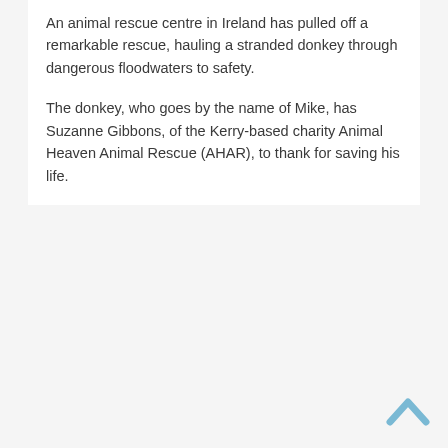An animal rescue centre in Ireland has pulled off a remarkable rescue, hauling a stranded donkey through dangerous floodwaters to safety.
The donkey, who goes by the name of Mike, has Suzanne Gibbons, of the Kerry-based charity Animal Heaven Animal Rescue (AHAR), to thank for saving his life.